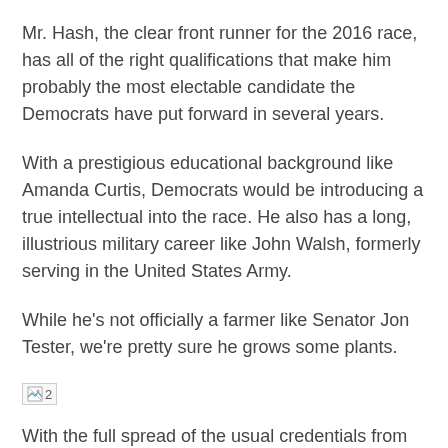Mr. Hash, the clear front runner for the 2016 race, has all of the right qualifications that make him probably the most electable candidate the Democrats have put forward in several years.
With a prestigious educational background like Amanda Curtis, Democrats would be introducing a true intellectual into the race. He also has a long, illustrious military career like John Walsh, formerly serving in the United States Army.
While he's not officially a farmer like Senator Jon Tester, we're pretty sure he grows some plants.
[Figure (other): Broken image placeholder with label '2']
With the full spread of the usual credentials from